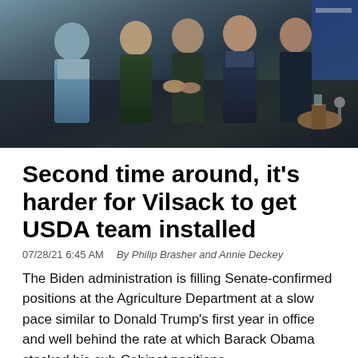[Figure (photo): Group of people including Tom Vilsack shaking hands at an event, several individuals in formal attire on a stage or event venue.]
Second time around, it's harder for Vilsack to get USDA team installed
07/28/21 6:45 AM    By Philip Brasher and Annie Deckey
The Biden administration is filling Senate-confirmed positions at the Agriculture Department at a slow pace similar to Donald Trump's first year in office and well behind the rate at which Barack Obama stocked his sub-Cabinet positions.
Read More